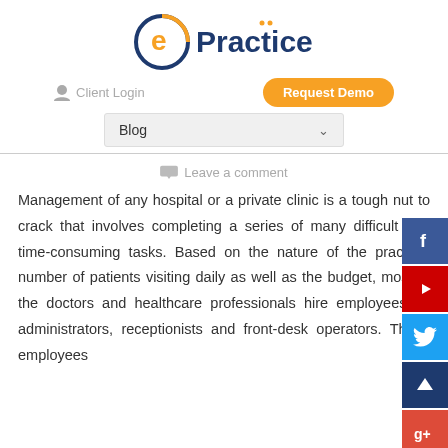[Figure (logo): ePractice logo with circular e icon in navy/orange and 'Practice' text in navy blue]
Client Login
Request Demo
Blog
Leave a comment
Management of any hospital or a private clinic is a tough nut to crack that involves completing a series of many difficult and time-consuming tasks. Based on the nature of the practice, number of patients visiting daily as well as the budget, most of the doctors and healthcare professionals hire employees as administrators, receptionists and front-desk operators. These employees
[Figure (screenshot): Social media sidebar icons: Facebook (blue), YouTube (red), Twitter (light blue), scroll-to-top button (dark navy), LinkedIn (partially visible), Google+ (red)]